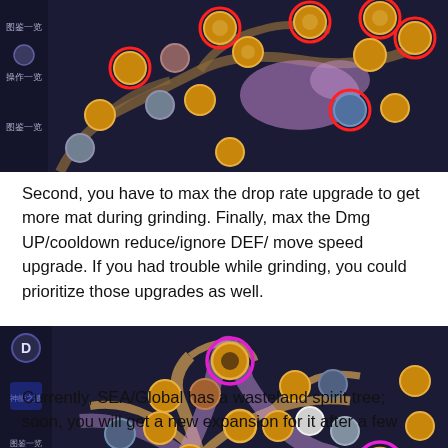[Figure (screenshot): Screenshot of a skill/talent tree from a mobile game, showing a dark background with stylized tree branches holding circular skill icons, several highlighted with red circles.]
Second, you have to max the drop rate upgrade to get more mat during grinding. Finally, max the Dmg UP/cooldown reduce/ignore DEF/ move speed upgrade. If you had trouble while grinding, you could prioritize those upgrades as well.
[Figure (screenshot): Screenshot of a wasteland spirit tree skill tree from a mobile game (SEA/Global version), showing a purple tree with circular skill icons on branches, some highlighted with pink/magenta circles.]
Currently, SEA/Global has a wasteland spirit tree; soon, you will get a new expansion for it after a few